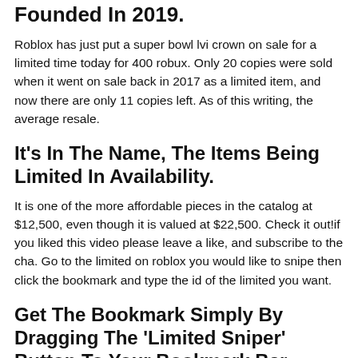Founded In 2019.
Roblox has just put a super bowl lvi crown on sale for a limited time today for 400 robux. Only 20 copies were sold when it went on sale back in 2017 as a limited item, and now there are only 11 copies left. As of this writing, the average resale.
It's In The Name, The Items Being Limited In Availability.
It is one of the more affordable pieces in the catalog at $12,500, even though it is valued at $22,500. Check it out!if you liked this video please leave a like, and subscribe to the cha. Go to the limited on roblox you would like to snipe then click the bookmark and type the id of the limited you want.
Get The Bookmark Simply By Dragging The 'Limited Sniper' Button To Your Bookmark Bar.